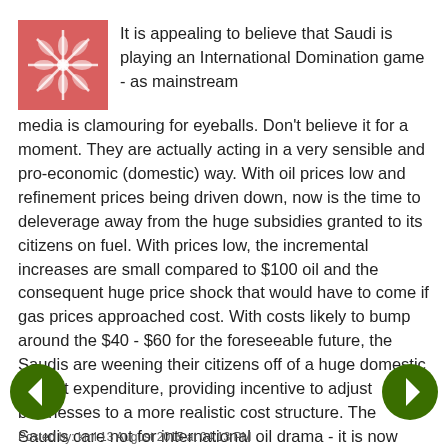[Figure (logo): Pink/red square logo with white geometric flower/snowflake pattern]
It is appealing to believe that Saudi is playing an International Domination game - as mainstream media is clamouring for eyeballs. Don't believe it for a moment. They are actually acting in a very sensible and pro-economic (domestic) way. With oil prices low and refinement prices being driven down, now is the time to deleverage away from the huge subsidies granted to its citizens on fuel. With prices low, the incremental increases are small compared to $100 oil and the consequent huge price shock that would have to come if gas prices approached cost. With costs likely to bump around the $40 - $60 for the foreseeable future, the Saudis are weening their citizens off of a huge domestic budget expenditure, providing incentive to adjust businesses to a more realistic cost structure. The Saudis care not for international oil drama - it is now about diversification, market-driven pricing, and pushing an economy into modernity.
Posted by: kml 13 August 2015 at 04:13 PM